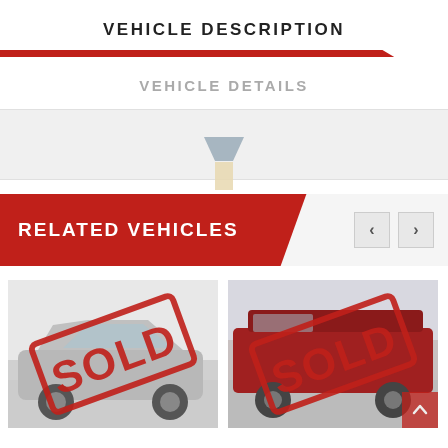VEHICLE DESCRIPTION
VEHICLE DETAILS
[Figure (other): Filter/funnel icon dividing sections]
RELATED VEHICLES
[Figure (photo): Silver Honda car with red SOLD stamp overlay]
[Figure (photo): Red van with red SOLD stamp overlay]